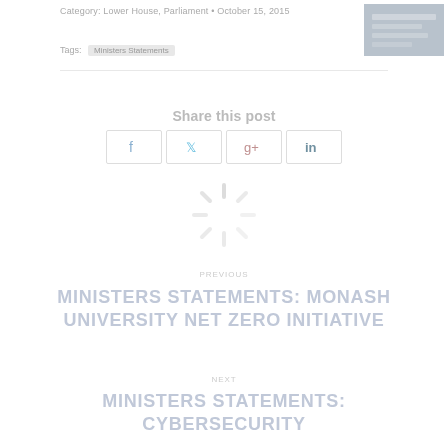Category: Lower House, Parliament • October 15, 2015
[Figure (screenshot): Small thumbnail image top right]
Tags: Ministers Statements
Share this post
[Figure (infographic): Social share buttons: Facebook, Twitter, Google+, LinkedIn]
[Figure (infographic): Loading spinner animation]
PREVIOUS
MINISTERS STATEMENTS: MONASH UNIVERSITY NET ZERO INITIATIVE
NEXT
MINISTERS STATEMENTS: CYBERSECURITY